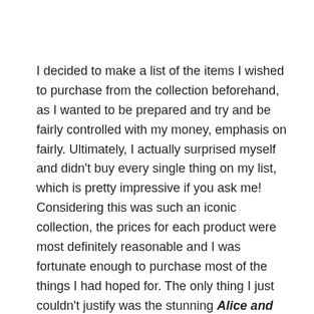I decided to make a list of the items I wished to purchase from the collection beforehand, as I wanted to be prepared and try and be fairly controlled with my money, emphasis on fairly. Ultimately, I actually surprised myself and didn't buy every single thing on my list, which is pretty impressive if you ask me! Considering this was such an iconic collection, the prices for each product were most definitely reasonable and I was fortunate enough to purchase most of the things I had hoped for. The only thing I just couldn't justify was the stunning Alice and Friends Leather Lozenge Cross Body Bag as at £115, that was sadly way out of my price range.
However, as noted previously, I did purchase some beautiful items and will name each one;